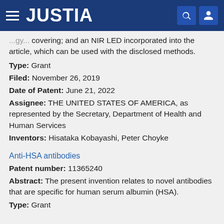JUSTIA
covering; and an NIR LED incorporated into the article, which can be used with the disclosed methods.
Type: Grant
Filed: November 26, 2019
Date of Patent: June 21, 2022
Assignee: THE UNITED STATES OF AMERICA, as represented by the Secretary, Department of Health and Human Services
Inventors: Hisataka Kobayashi, Peter Choyke
Anti-HSA antibodies
Patent number: 11365240
Abstract: The present invention relates to novel antibodies that are specific for human serum albumin (HSA).
Type: Grant